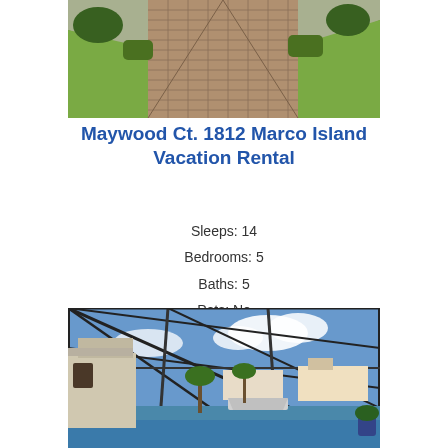[Figure (photo): Aerial or ground-level view of a brick paver driveway with green grass on either side, leading up to a home.]
Maywood Ct. 1812 Marco Island Vacation Rental
Sleeps: 14
Bedrooms: 5
Baths: 5
Pets: No
[Figure (photo): Screened-in pool area with view of a canal, boats, and neighboring houses under a blue sky with clouds.]